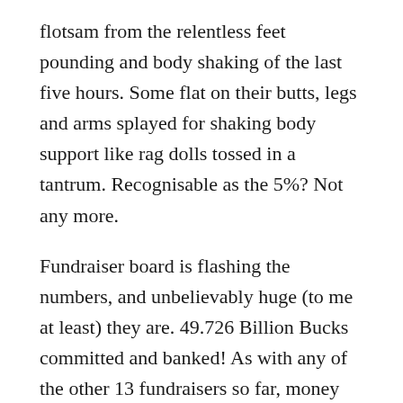flotsam from the relentless feet pounding and body shaking of the last five hours. Some flat on their butts, legs and arms splayed for shaking body support like rag dolls tossed in a tantrum. Recognisable as the 5%? Not any more.
Fundraiser board is flashing the numbers, and unbelievably huge (to me at least) they are. 49.726 Billion Bucks committed and banked! As with any of the other 13 fundraisers so far, money pledged is subject to instant transfer so that real time and real money is raised. My cut? what I used to think was a measly 0.5% of funds raised (a cool 250 Mill ). Had been subject to much intense haggling by me, but the 12 never wavered, but insisted the compensation will accrue nicely. It has.